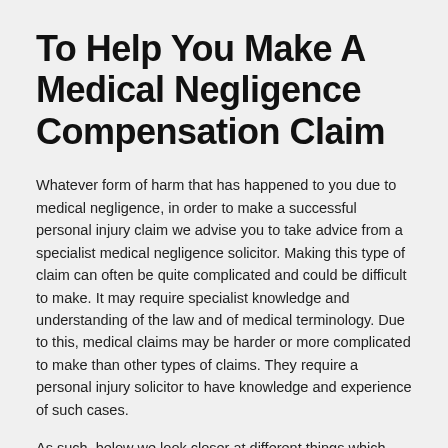To Help You Make A Medical Negligence Compensation Claim
Whatever form of harm that has happened to you due to medical negligence, in order to make a successful personal injury claim we advise you to take advice from a specialist medical negligence solicitor. Making this type of claim can often be quite complicated and could be difficult to make. It may require specialist knowledge and understanding of the law and of medical terminology. Due to this, medical claims may be harder or more complicated to make than other types of claims. They require a personal injury solicitor to have knowledge and experience of such cases.
As such, below we look closer at different things which you could or should take into account when choosing the person to handle your claim. First remember that you do not need to claim through medical negligence solicitors in Ealing, a solicitor from elsewhere may be the right person for you. And, always put ability and